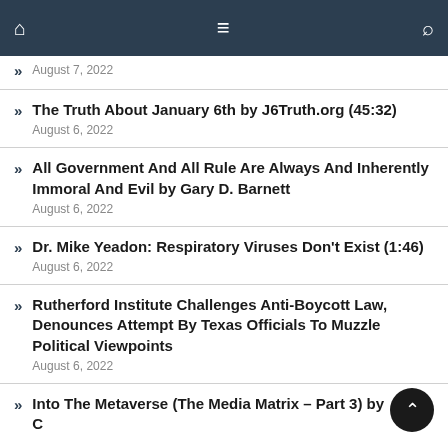Navigation bar with home, menu, and search icons
August 7, 2022
The Truth About January 6th by J6Truth.org (45:32)
August 6, 2022
All Government And All Rule Are Always And Inherently Immoral And Evil by Gary D. Barnett
August 6, 2022
Dr. Mike Yeadon: Respiratory Viruses Don’t Exist (1:46)
August 6, 2022
Rutherford Institute Challenges Anti-Boycott Law, Denounces Attempt By Texas Officials To Muzzle Political Viewpoints
August 6, 2022
Into The Metaverse (The Media Matrix – Part 3) by Corbett